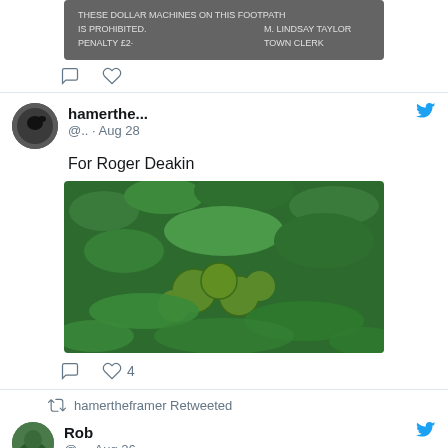[Figure (screenshot): Partial tweet at top showing a sign photo (partial, cropped) and action icons (comment, like)]
[Figure (screenshot): Tweet by hamerthe... @.. Aug 28 saying 'For Roger Deakin' with a photo of green walnuts on a tree, with 4 likes]
[Figure (screenshot): Partial tweet showing hamertheframer Retweeted, with Rob @.. Aug 26 tweet starting]